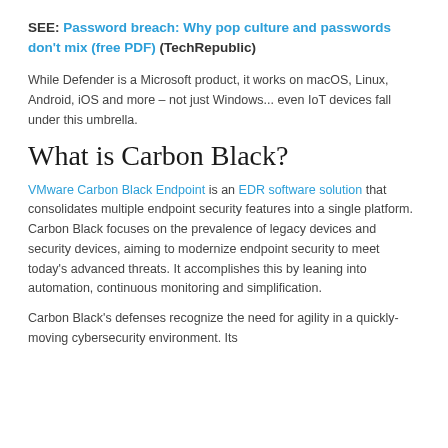SEE: Password breach: Why pop culture and passwords don't mix (free PDF) (TechRepublic)
While Defender is a Microsoft product, it works on macOS, Linux, Android, iOS and more – not just Windows... even IoT devices fall under this umbrella.
What is Carbon Black?
VMware Carbon Black Endpoint is an EDR software solution that consolidates multiple endpoint security features into a single platform. Carbon Black focuses on the prevalence of legacy devices and security devices, aiming to modernize endpoint security to meet today's advanced threats. It accomplishes this by leaning into automation, continuous monitoring and simplification.
Carbon Black's defenses recognize the need for agility in a quickly-moving cybersecurity environment. Its ...